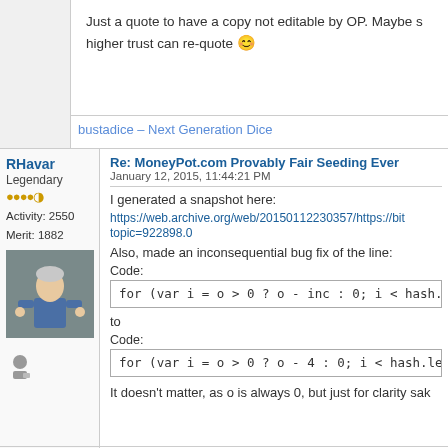Just a quote to have a copy not editable by OP. Maybe s higher trust can re-quote 🙂
bustadice – Next Generation Dice
RHavar
Legendary
Activity: 2550
Merit: 1882
Re: MoneyPot.com Provably Fair Seeding Ever
January 12, 2015, 11:44:21 PM
I generated a snapshot here:
https://web.archive.org/web/20150112230357/https://bit topic=922898.0
Also, made an inconsequential bug fix of the line:
Code:
to
Code:
It doesn't matter, as o is always 0, but just for clarity sak